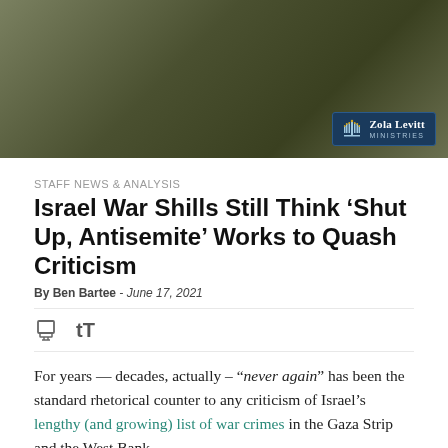[Figure (photo): A soldier in olive green military uniform viewed from behind, near a stone wall. Zola Levitt Ministries logo badge in bottom right corner.]
STAFF NEWS & ANALYSIS
Israel War Shills Still Think ‘Shut Up, Antisemite’ Works to Quash Criticism
By Ben Bartee - June 17, 2021
For years — decades, actually – “never again” has been the standard rhetorical counter to any criticism of Israel’s lengthy (and growing) list of war crimes in the Gaza Strip and the West Bank.
[Figure (photo): Split image: left side shows a black and white historical crowd photograph; right side shows a modern soldier in military gear against a green graffiti wall.]